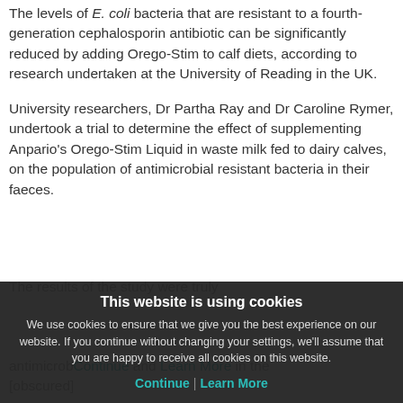The levels of E. coli bacteria that are resistant to a fourth-generation cephalosporin antibiotic can be significantly reduced by adding Orego-Stim to calf diets, according to research undertaken at the University of Reading in the UK.
University researchers, Dr Partha Ray and Dr Caroline Rymer, undertook a trial to determine the effect of supplementing Anpario's Orego-Stim Liquid in waste milk fed to dairy calves, on the population of antimicrobial resistant bacteria in their faeces.
The results of the study were truly... [partially obscured by cookie overlay]
antimicrob... [partially obscured] in the [obscured]
This website is using cookies
We use cookies to ensure that we give you the best experience on our website. If you continue without changing your settings, we'll assume that you are happy to receive all cookies on this website.
Continue | Learn More